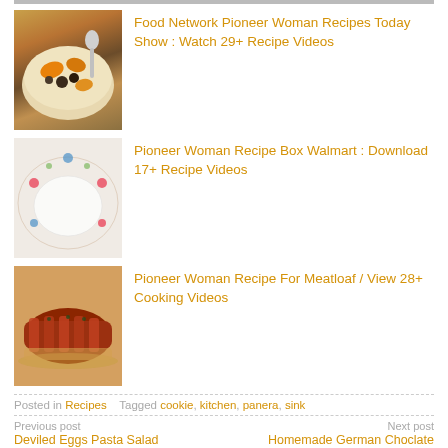[Figure (photo): Partial top image, cropped food photo at top of page]
[Figure (photo): Bowl of mixed vegetables with carrots and dark ingredients]
Food Network Pioneer Woman Recipes Today Show : Watch 29+ Recipe Videos
[Figure (photo): Decorative plate with floral rim, empty white bowl]
Pioneer Woman Recipe Box Walmart : Download 17+ Recipe Videos
[Figure (photo): Meatloaf wrapped in bacon on a baking dish]
Pioneer Woman Recipe For Meatloaf / View 28+ Cooking Videos
Posted in Recipes    Tagged cookie, kitchen, panera, sink
Previous post
Deviled Eggs Pasta Salad
Next post
Homemade German Choclate Cake